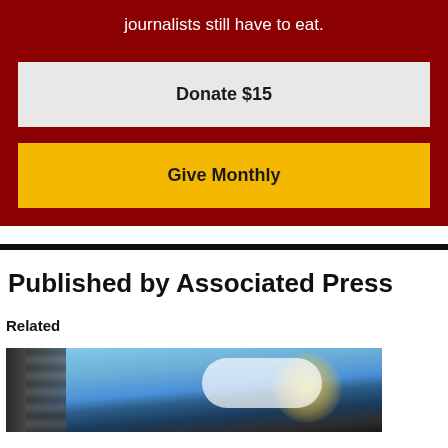journalists still have to eat.
Donate $15
Give Monthly
Published by Associated Press
Related
[Figure (photo): Outdoor photo with sky, clouds and structural elements in the foreground]